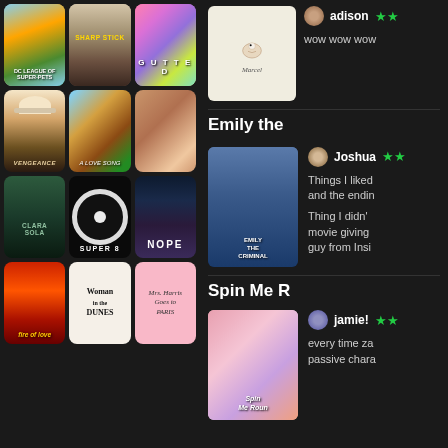[Figure (screenshot): Movie browsing app showing grid of film posters: DC League of Super-Pets, Sharp Stick, Gutted, Vengeance, A Love Song, close-up film, Clara Sola, Super 8, Nope, Fire of Love, Woman in the Dunes, Mrs. Harris Goes to Paris]
[Figure (screenshot): Movie reviews panel showing Marcel the Shell with Shoes On thumbnail, adison reviewer with stars and review text starting 'wow wow wow'; Emily the Criminal poster with Joshua reviewer and partial review text; Spin Me Round poster with jamie! reviewer and partial review text]